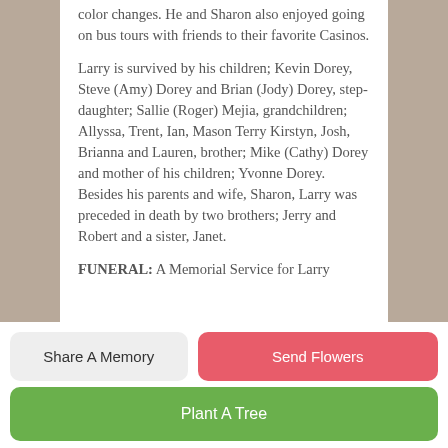color changes. He and Sharon also enjoyed going on bus tours with friends to their favorite Casinos.

Larry is survived by his children; Kevin Dorey, Steve (Amy) Dorey and Brian (Jody) Dorey, step-daughter; Sallie (Roger) Mejia, grandchildren; Allyssa, Trent, Ian, Mason Terry Kirstyn, Josh, Brianna and Lauren, brother; Mike (Cathy) Dorey and mother of his children; Yvonne Dorey. Besides his parents and wife, Sharon, Larry was preceded in death by two brothers; Jerry and Robert and a sister, Janet.

FUNERAL: A Memorial Service for Larry
Share A Memory
Send Flowers
Plant A Tree